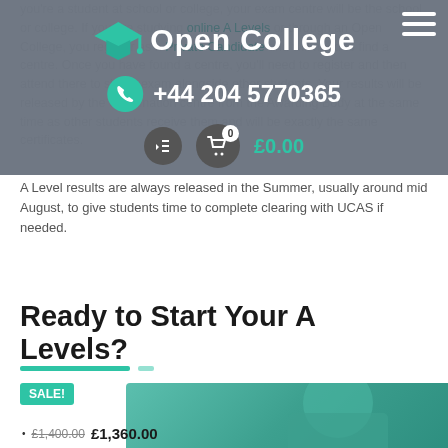you're a student at school or college, your exam centre will be the school or college. If you are studying online A Levels or through an Open College, you register as a Private Candidate and will need to find a centre. Once you have found a centre, you'll need to register and then attend there to sit the exam alongside other students. Your results will be released by the examination centre from the Awarding Body at the same time as other students receive them and will be exactly the same certificates.
A Level results are always released in the Summer, usually around mid August, to give students time to complete clearing with UCAS if needed.
Ready to Start Your A Levels?
[Figure (photo): Course product image showing person in teal/green clothing, partially visible at bottom of page. Includes SALE badge and price showing £1,400.00 original and £1,360.00 sale price.]